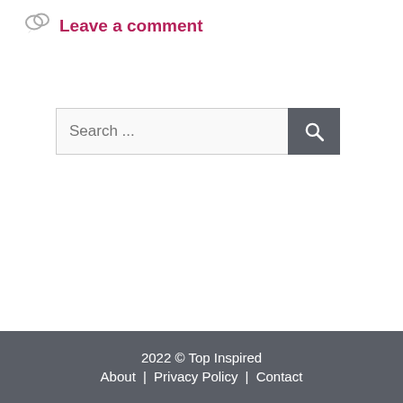Leave a comment
[Figure (other): Search bar with text input field showing 'Search ...' placeholder and a dark grey search button with magnifying glass icon]
2022 © Top Inspired
About | Privacy Policy | Contact